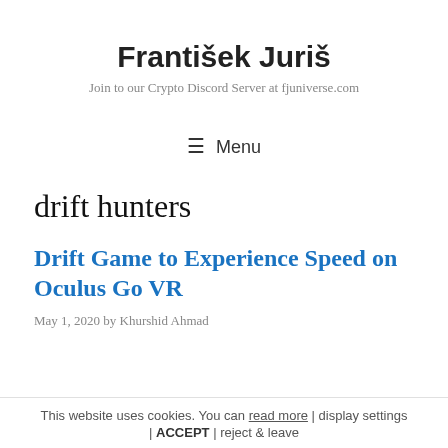František Juriš
Join to our Crypto Discord Server at fjuniverse.com
☰ Menu
drift hunters
Drift Game to Experience Speed on Oculus Go VR
May 1, 2020 by Khurshid Ahmad
This website uses cookies. You can read more | display settings | ACCEPT | reject & leave